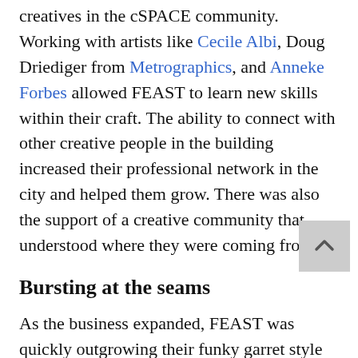creatives in the cSPACE community. Working with artists like Cecile Albi, Doug Driediger from Metrographics, and Anneke Forbes allowed FEAST to learn new skills within their craft. The ability to connect with other creative people in the building increased their professional network in the city and helped them grow. There was also the support of a creative community that understood where they were coming from.
Bursting at the seams
As the business expanded, FEAST was quickly outgrowing their funky garret style studio. As it happened, a larger space